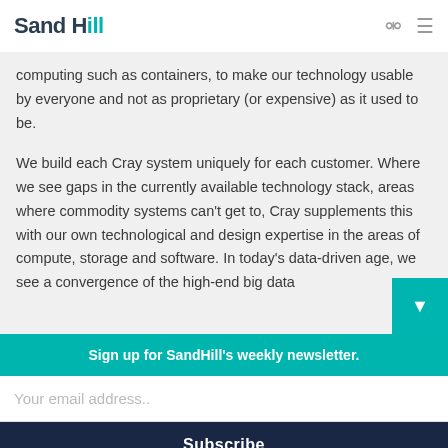Sand Hill
computing such as containers, to make our technology usable by everyone and not as proprietary (or expensive) as it used to be.
We build each Cray system uniquely for each customer. Where we see gaps in the currently available technology stack, areas where commodity systems can't get to, Cray supplements this with our own technological and design expertise in the areas of compute, storage and software. In today's data-driven age, we see a convergence of the high-end big data
Sign up for SandHill's weekly newsletter.
Your email address..
Subscribe